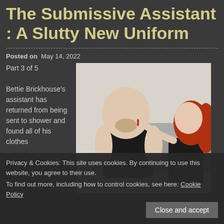The Submissive Assistant : A Slutty New Uniform
Posted on May 14, 2022
Part 3 of 5
Bettie Brickhouse's assistant has returned from being sent to shower and found all of his clothes
[Figure (photo): A person in a black tank top being approached by a red-haired woman who appears to be applying something near their mouth, seated against a grey background.]
Privacy & Cookies: This site uses cookies. By continuing to use this website, you agree to their use.
To find out more, including how to control cookies, see here: Cookie Policy
Close and accept